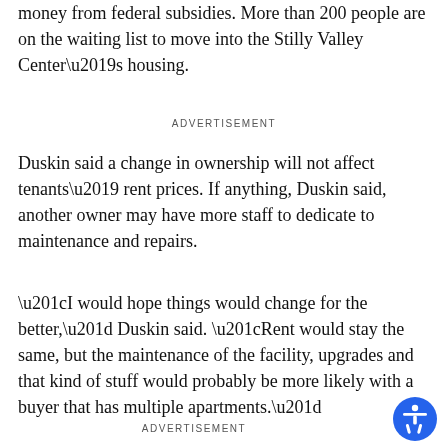money from federal subsidies. More than 200 people are on the waiting list to move into the Stilly Valley Center’s housing.
ADVERTISEMENT
Duskin said a change in ownership will not affect tenants’ rent prices. If anything, Duskin said, another owner may have more staff to dedicate to maintenance and repairs.
“I would hope things would change for the better,” Duskin said. “Rent would stay the same, but the maintenance of the facility, upgrades and that kind of stuff would probably be more likely with a buyer that has multiple apartments.”
ADVERTISEMENT
[Figure (illustration): Blue circular accessibility icon with a stylized human figure]